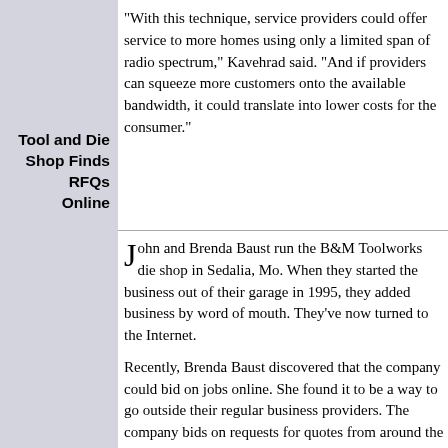"With this technique, service providers could offer service to more homes using only a limited span of radio spectrum," Kavehrad said. "And if providers can squeeze more customers onto the available bandwidth, it could translate into lower costs for the consumer."
Tool and Die Shop Finds RFQs Online
John and Brenda Baust run the B&M Toolworks die shop in Sedalia, Mo. When they started the business out of their garage in 1995, they added business by word of mouth. They've now turned to the Internet.
Recently, Brenda Baust discovered that the company could bid on jobs online. She found it to be a way to go outside their regular business providers. The company bids on requests for quotes from around the nation at a Web site called MfgQuote. com, operated by a Smyrna, Ga., company of the same name. For a fee, the site matches suppliers with businesses seeking their services. B&M Toolworks has won business from companies in Colorado, New Jersey, New York, and on the West Coast, according to John Baust.
He said that the Internet is a new and growing way to direct customers to RFQs...